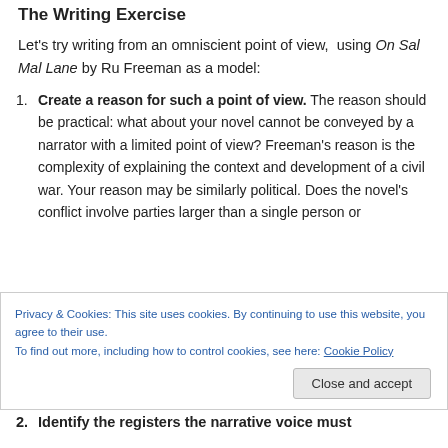The Writing Exercise
Let's try writing from an omniscient point of view,  using On Sal Mal Lane by Ru Freeman as a model:
Create a reason for such a point of view. The reason should be practical: what about your novel cannot be conveyed by a narrator with a limited point of view? Freeman's reason is the complexity of explaining the context and development of a civil war. Your reason may be similarly political. Does the novel's conflict involve parties larger than a single person or
Privacy & Cookies: This site uses cookies. By continuing to use this website, you agree to their use.
To find out more, including how to control cookies, see here: Cookie Policy
Identify the registers the narrative voice must